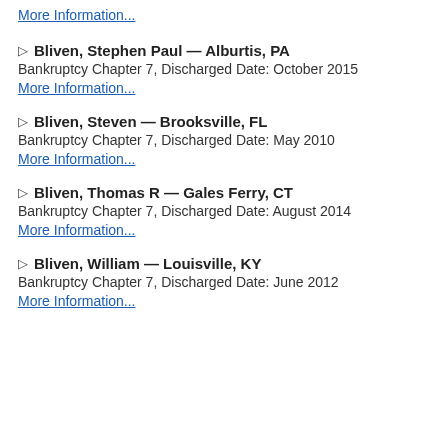More Information...
▷ Bliven, Stephen Paul — Alburtis, PA
Bankruptcy Chapter 7, Discharged Date: October 2015
More Information...
▷ Bliven, Steven — Brooksville, FL
Bankruptcy Chapter 7, Discharged Date: May 2010
More Information...
▷ Bliven, Thomas R — Gales Ferry, CT
Bankruptcy Chapter 7, Discharged Date: August 2014
More Information...
▷ Bliven, William — Louisville, KY
Bankruptcy Chapter 7, Discharged Date: June 2012
More Information...